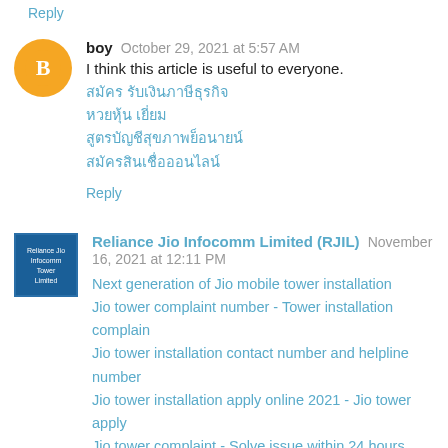Reply
boy  October 29, 2021 at 5:57 AM
I think this article is useful to everyone.
[Thai link 1]
[Thai link 2]
[Thai link 3]
[Thai link 4]
Reply
Reliance Jio Infocomm Limited (RJIL)  November 16, 2021 at 12:11 PM
Next generation of Jio mobile tower installation
Jio tower complaint number - Tower installation complain
Jio tower installation contact number and helpline number
Jio tower installation apply online 2021 - Jio tower apply
Jio tower complaint - Solve issue within 24 hours
Jio tower monthly rent in village - Jio small cell tower rent